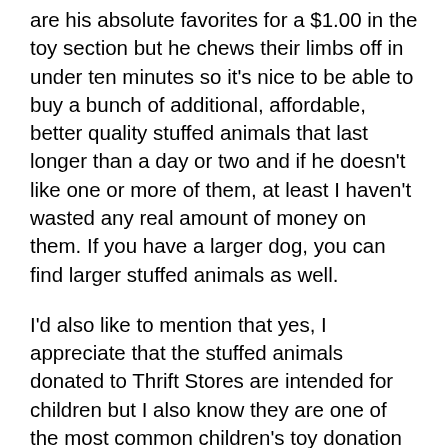are his absolute favorites for a $1.00 in the toy section but he chews their limbs off in under ten minutes so it's nice to be able to buy a bunch of additional, affordable, better quality stuffed animals that last longer than a day or two and if he doesn't like one or more of them, at least I haven't wasted any real amount of money on them. If you have a larger dog, you can find larger stuffed animals as well.
I'd also like to mention that yes, I appreciate that the stuffed animals donated to Thrift Stores are intended for children but I also know they are one of the most common children's toy donation so there is always several big bins full every time I go and they are priced to move because more keep coming every day and they need to keep stock moving so they have space for incoming donations. I feel confident that buying a bag of